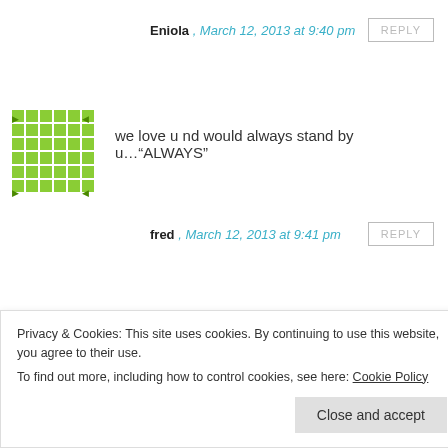Eniola , March 12, 2013 at 9:40 pm
we love u nd would always stand by u…"ALWAYS"
fred , March 12, 2013 at 9:41 pm
Yaaaaaay!!!! AWESOME!! By he's stripes u are healed!!!!! I'm happy for u, coz for sure I know wen u eventually go get
Privacy & Cookies: This site uses cookies. By continuing to use this website, you agree to their use.
To find out more, including how to control cookies, see here: Cookie Policy
Close and accept